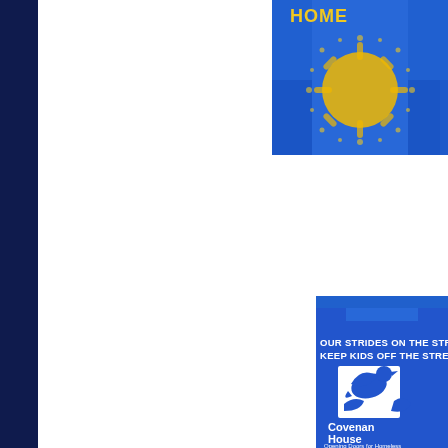[Figure (photo): Top right: Blue t-shirt with yellow/gold sun burst design and partial text 'HOME...' at top, partially cropped]
[Figure (photo): Bottom right: Blue t-shirt showing 'OUR STRIDES ON THE STRE... KEEP KIDS OFF THE STREETS' with Covenant House logo (white dove/bird design in square) and text 'Covenant House' and 'Opening Doors for Homeless...']